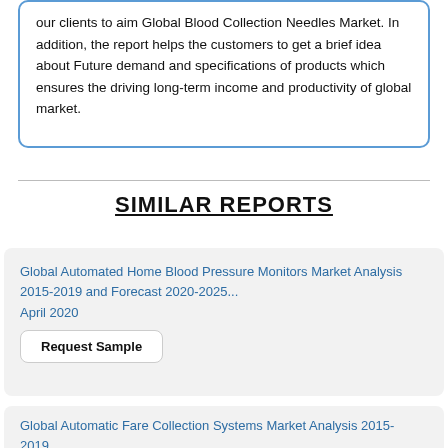our clients to aim Global Blood Collection Needles Market. In addition, the report helps the customers to get a brief idea about Future demand and specifications of products which ensures the driving long-term income and productivity of global market.
SIMILAR REPORTS
Global Automated Home Blood Pressure Monitors Market Analysis 2015-2019 and Forecast 2020-2025...
April 2020
Request Sample
Global Automatic Fare Collection Systems Market Analysis 2015-2019...